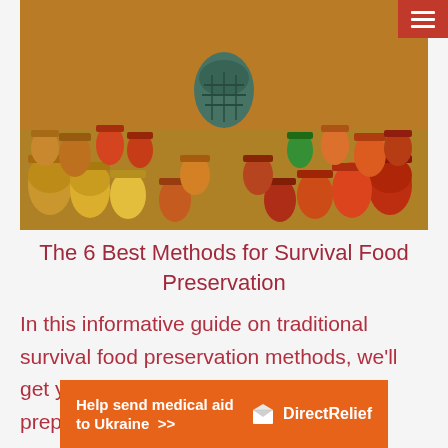[Figure (photo): Wide banner photograph showing rows of colorful preserved food jars and canned goods arranged outdoors on sandy ground, with a woven basket in the center background. Jars contain various preserved fruits, vegetables in orange, red, yellow, and green colors.]
The 6 Best Methods for Survival Food Preservation
In this informative guide on traditional survival food preservation methods, we'll get you started on your journey towards prepping your food if or when SHTF.
[Figure (infographic): Orange banner advertisement reading 'Help send medical aid to Ukraine >>' with Direct Relief logo on the right side.]